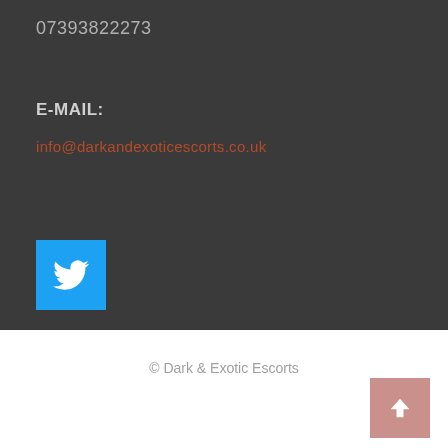07393822273
E-MAIL:
info@darkandexoticescorts.co.uk
[Figure (logo): Twitter bird icon on a sky-blue square button]
© Dark & Exotic Escorts